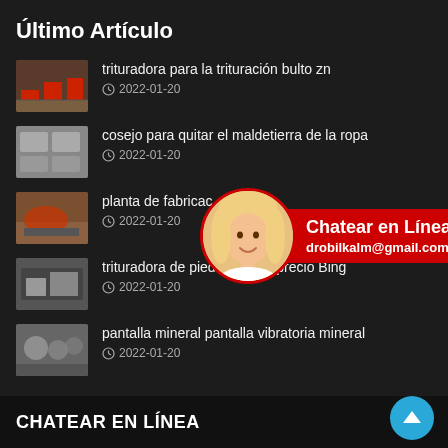Último Artículo
trituradora para la trituración bulto zn
2022-01-20
cosejo para quitar el maldetierra de la ropa
2022-01-20
planta de fabricac…
2022-01-20
trituradora de piedra india y precio Bing
2022-01-20
pantalla mineral pantalla vibratoria mineral
2022-01-20
[Figure (infographic): Chat overlay with woman avatar in red circle border, red banner reading 'Chatear en Línea' and email drobilkalm@gmail.com]
CHATEAR EN LÍNEA